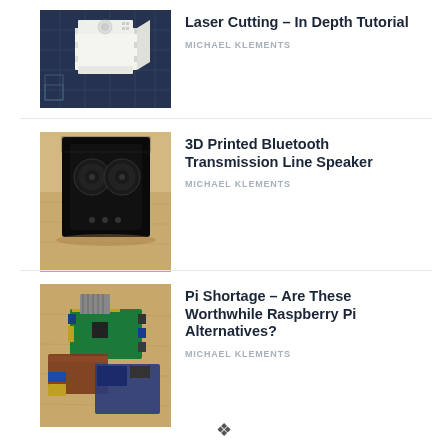[Figure (photo): Laser cut box/enclosure on dark blue technical drawing background]
Laser Cutting – In Depth Tutorial
MICHAEL KLEMENTS
[Figure (photo): 3D printed black speaker enclosure with two speaker drivers on wooden surface]
3D Printed Bluetooth Transmission Line Speaker
MICHAEL KLEMENTS
[Figure (photo): Multiple single-board computers and Raspberry Pi alternatives on wooden table]
Pi Shortage – Are These Worthwhile Raspberry Pi Alternatives?
MICHAEL KLEMENTS